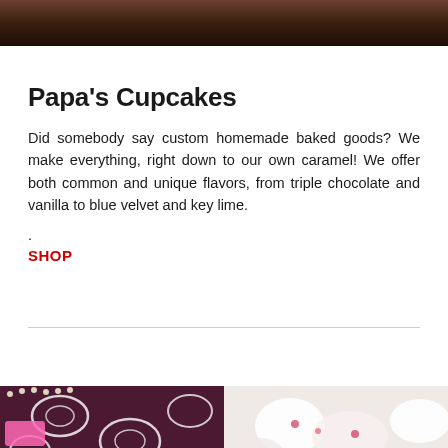[Figure (photo): Top portion of a photo showing dark chocolate cupcakes from above]
Papa's Cupcakes
Did somebody say custom homemade baked goods? We make everything, right down to our own caramel! We offer both common and unique flavors, from triple chocolate and vanilla to blue velvet and key lime.
.
SHOP
[Figure (photo): Bottom portion showing decorated cupcakes with black lace and pink fondant on left, and white frosted cupcakes on right]